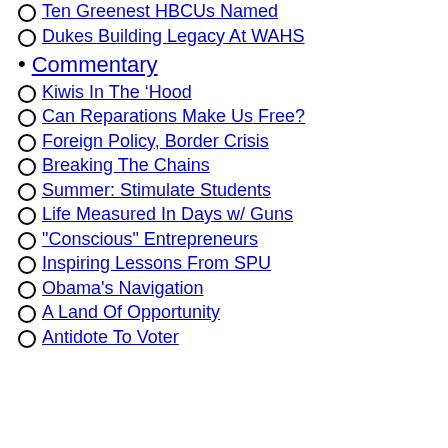Ten Greenest HBCUs Named
Dukes Building Legacy At WAHS
Commentary
Kiwis In The ‘Hood
Can Reparations Make Us Free?
Foreign Policy, Border Crisis
Breaking The Chains
Summer: Stimulate Students
Life Measured In Days w/ Guns
"Conscious" Entrepreneurs
Inspiring Lessons From SPU
Obama's Navigation
A Land Of Opportunity
Antidote To Voter